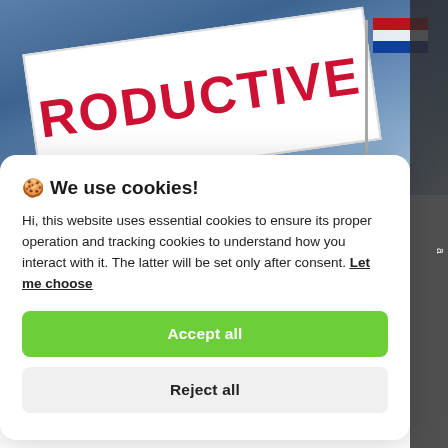[Figure (photo): Protest banner sign reading '...RODUCTIVE' against a blue cloudy sky, with a flagpole and flag in the background. Dark strip on the right edge.]
🍪 We use cookies!
Hi, this website uses essential cookies to ensure its proper operation and tracking cookies to understand how you interact with it. The latter will be set only after consent. Let me choose
Accept all
Reject all